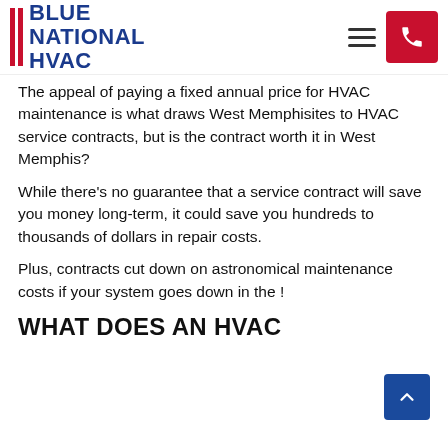Blue National HVAC
The appeal of paying a fixed annual price for HVAC maintenance is what draws West Memphisites to HVAC service contracts, but is the contract worth it in West Memphis?
While there's no guarantee that a service contract will save you money long-term, it could save you hundreds to thousands of dollars in repair costs.
Plus, contracts cut down on astronomical maintenance costs if your system goes down in the !
WHAT DOES AN HVAC